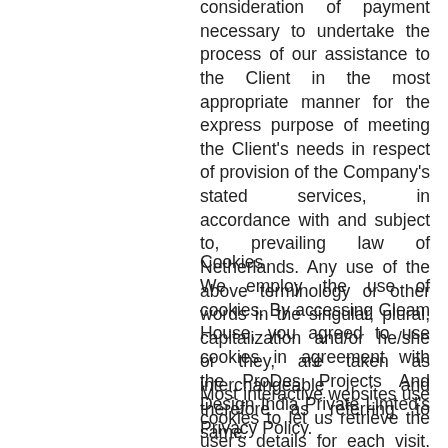consideration of payment necessary to undertake the process of our assistance to the Client in the most appropriate manner for the express purpose of meeting the Client's needs in respect of provision of the Company's stated services, in accordance with and subject to, prevailing law of Netherlands. Any use of the above terminology or other words in the singular, plural, capitalization and/or he/she or they, are taken as interchangeable and therefore as referring to same.
Cookies
We employ the use of cookies. By accessing Gleam House, you agreed to use cookies in agreement with the ProDes Projects And Design India Private Limted's Privacy Policy.
Most interactive websites use cookies to let us retrieve the user's details for each visit. Cookies are used by our website to enable the functionality of certain areas to make it easier for people visiting our website. Some of our affiliate/advertising partners may also use cookies.
License
Unless otherwise stated, ProDes Projects And Design India Private Limted and/or its licensors own the intellectual property